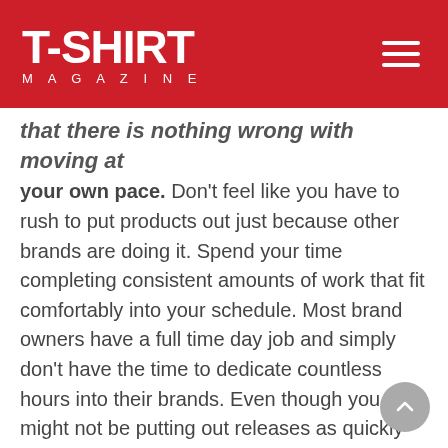T-SHIRT MAGAZINE
that there is nothing wrong with moving at your own pace. Don't feel like you have to rush to put products out just because other brands are doing it. Spend your time completing consistent amounts of work that fit comfortably into your schedule. Most brand owners have a full time day job and simply don't have the time to dedicate countless hours into their brands. Even though you might not be putting out releases as quickly as you would prefer, you will feel satisfied when the day comes because of the consistent work that went into it.
Putting out a small run of three quality designs that fit into your brand image is